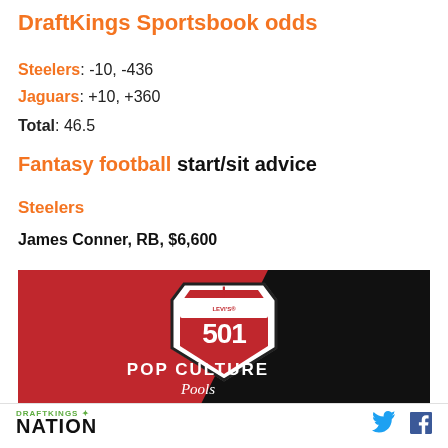DraftKings Sportsbook odds
Steelers: -10, -436
Jaguars: +10, +360
Total: 46.5
Fantasy football start/sit advice
Steelers
James Conner, RB, $6,600
[Figure (logo): DraftKings Nation Pop Culture Pools 501 advertisement banner — red and black background with shield logo]
DRAFTKINGS NATION